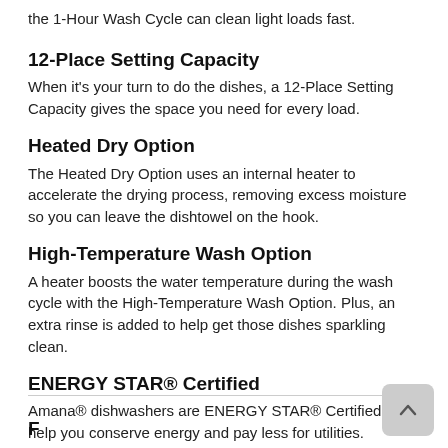the 1-Hour Wash Cycle can clean light loads fast.
12-Place Setting Capacity
When it's your turn to do the dishes, a 12-Place Setting Capacity gives the space you need for every load.
Heated Dry Option
The Heated Dry Option uses an internal heater to accelerate the drying process, removing excess moisture so you can leave the dishtowel on the hook.
High-Temperature Wash Option
A heater boosts the water temperature during the wash cycle with the High-Temperature Wash Option. Plus, an extra rinse is added to help get those dishes sparkling clean.
ENERGY STAR® Certified
Amana® dishwashers are ENERGY STAR® Certified to help you conserve energy and pay less for utilities.